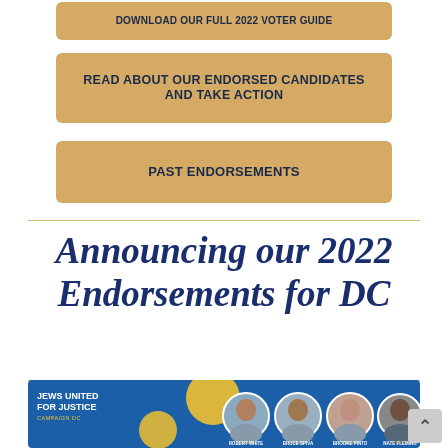DOWNLOAD OUR FULL 2022 VOTER GUIDE
READ ABOUT OUR ENDORSED CANDIDATES AND TAKE ACTION
PAST ENDORSEMENTS
Announcing our 2022 Endorsements for DC
[Figure (photo): Jews United for Justice banner with endorsed candidates Robert White, Bruce Spiva, Brooke Pinto, and Nate Fleming with circular headshots on blue background with yellow circles]